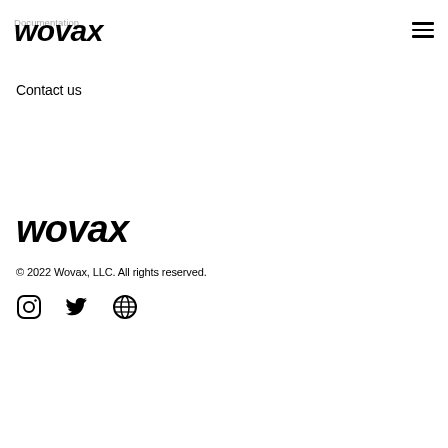Documentation
wovax
Contact us
wovax
© 2022 Wovax, LLC. All rights reserved.
[Figure (other): Social media icons: Instagram, Twitter, WordPress]